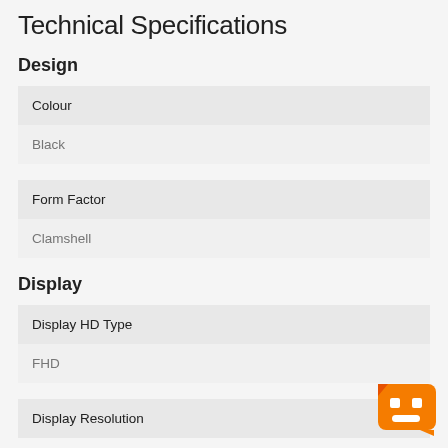Technical Specifications
Design
| Colour |
| --- |
| Black |
| Form Factor |
| --- |
| Clamshell |
Display
| Display HD Type |
| --- |
| FHD |
| Display Resolution |
| --- |
|  |